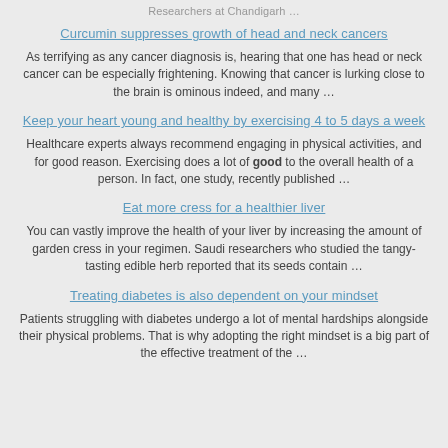Researchers at Chandigarh …
Curcumin suppresses growth of head and neck cancers
As terrifying as any cancer diagnosis is, hearing that one has head or neck cancer can be especially frightening. Knowing that cancer is lurking close to the brain is ominous indeed, and many …
Keep your heart young and healthy by exercising 4 to 5 days a week
Healthcare experts always recommend engaging in physical activities, and for good reason. Exercising does a lot of good to the overall health of a person. In fact, one study, recently published …
Eat more cress for a healthier liver
You can vastly improve the health of your liver by increasing the amount of garden cress in your regimen. Saudi researchers who studied the tangy-tasting edible herb reported that its seeds contain …
Treating diabetes is also dependent on your mindset
Patients struggling with diabetes undergo a lot of mental hardships alongside their physical problems. That is why adopting the right mindset is a big part of the effective treatment of the …